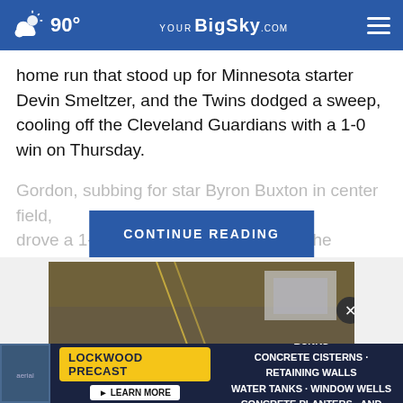90° YourBigSky.com
home run that stood up for Minnesota starter Devin Smeltzer, and the Twins dodged a sweep, cooling off the Cleveland Guardians with a 1-0 win on Thursday.
Gordon, subbing for star Byron Buxton in center field, drove a 1-2 cur... 3-4) into the [CONTINUE READING button overlaid]
[Figure (screenshot): Aerial/road video thumbnail partially visible]
[Figure (other): Advertisement banner: LOCKWOOD PRECAST - PICNIC TABLES · BENCHES · FEED BUNKS CONCRETE CISTERNS · RETAINING WALLS WATER TANKS · WINDOW WELLS CONCRETE PLANTERS · AND MUCH MORE! with LEARN MORE button]